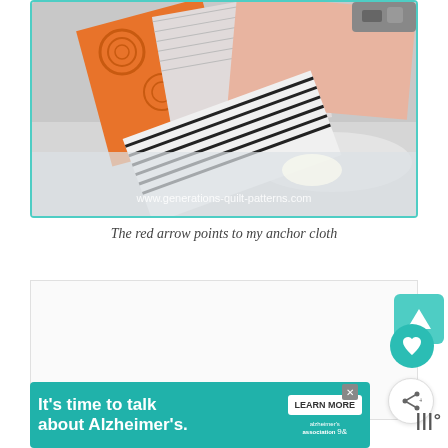[Figure (photo): Photo of colorful quilt fabrics with orange, black-and-white, and pink patterns placed on a glass surface. A watermark reads www.generations-quilt-patterns.com]
The red arrow points to my anchor cloth
ADVERTISEMENT
[Figure (screenshot): Alzheimer's Association advertisement banner reading "It's time to talk about Alzheimer's." with a LEARN MORE button and the Alzheimer's association logo]
[Figure (other): Teal triangle icon button and teal heart favorite button on the right side]
[Figure (other): Share button (circular with share icon) on right side]
|||°